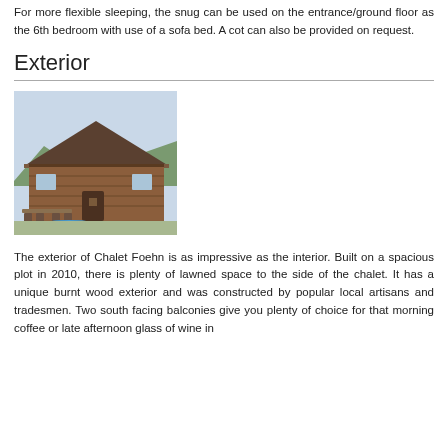For more flexible sleeping, the snug can be used on the entrance/ground floor as the 6th bedroom with use of a sofa bed. A cot can also be provided on request.
Exterior
[Figure (photo): Exterior photo of Chalet Foehn showing wooden alpine chalet with burnt wood exterior, outdoor dining table and chairs, blue hot tub in foreground, mountains in background.]
The exterior of Chalet Foehn is as impressive as the interior. Built on a spacious plot in 2010, there is plenty of lawned space to the side of the chalet. It has a unique burnt wood exterior and was constructed by popular local artisans and tradesmen. Two south facing balconies give you plenty of choice for that morning coffee or late afternoon glass of wine in